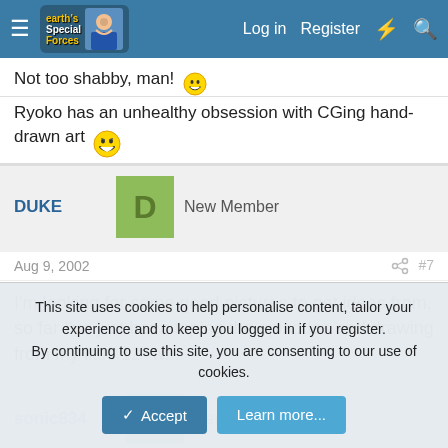Earth's Special Forces forum — Log in | Register
Not too shabby, man! 😄
Ryoko has an unhealthy obsession with CGing hand-drawn art 😄
DUKE — New Member
Aug 9, 2002  #7
I'm looking for some good pictures to get ideas from, so far I've just been taping the episodes and drawing from my little 12" tv...
sonic834 — New Member
This site uses cookies to help personalise content, tailor your experience and to keep you logged in if you register.
By continuing to use this site, you are consenting to our use of cookies.